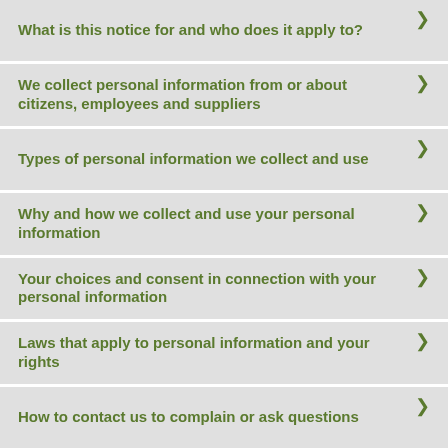What is this notice for and who does it apply to?
We collect personal information from or about citizens, employees and suppliers
Types of personal information we collect and use
Why and how we collect and use your personal information
Your choices and consent in connection with your personal information
Laws that apply to personal information and your rights
How to contact us to complain or ask questions